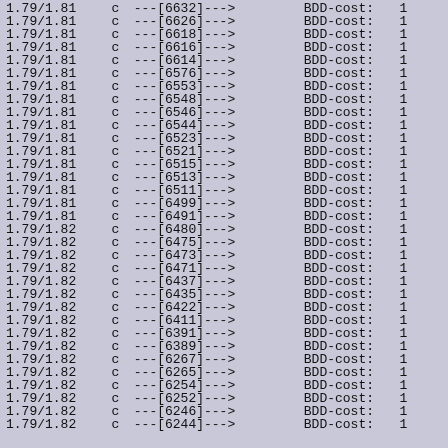1.79/1.81   c ---[6632]---> BDD-cost:   1
1.79/1.81   c ---[6626]---> BDD-cost:   1
1.79/1.81   c ---[6618]---> BDD-cost:   1
1.79/1.81   c ---[6616]---> BDD-cost:   1
1.79/1.81   c ---[6614]---> BDD-cost:   1
1.79/1.81   c ---[6576]---> BDD-cost:   1
1.79/1.81   c ---[6553]---> BDD-cost:   1
1.79/1.81   c ---[6548]---> BDD-cost:   1
1.79/1.81   c ---[6546]---> BDD-cost:   1
1.79/1.81   c ---[6544]---> BDD-cost:   1
1.79/1.81   c ---[6523]---> BDD-cost:   1
1.79/1.81   c ---[6521]---> BDD-cost:   1
1.79/1.81   c ---[6515]---> BDD-cost:   1
1.79/1.81   c ---[6513]---> BDD-cost:   1
1.79/1.81   c ---[6511]---> BDD-cost:   1
1.79/1.81   c ---[6499]---> BDD-cost:   1
1.79/1.81   c ---[6491]---> BDD-cost:   1
1.79/1.82   c ---[6480]---> BDD-cost:   1
1.79/1.82   c ---[6475]---> BDD-cost:   1
1.79/1.82   c ---[6473]---> BDD-cost:   1
1.79/1.82   c ---[6471]---> BDD-cost:   1
1.79/1.82   c ---[6437]---> BDD-cost:   1
1.79/1.82   c ---[6435]---> BDD-cost:   1
1.79/1.82   c ---[6422]---> BDD-cost:   1
1.79/1.82   c ---[6411]---> BDD-cost:   1
1.79/1.82   c ---[6391]---> BDD-cost:   1
1.79/1.82   c ---[6389]---> BDD-cost:   1
1.79/1.82   c ---[6267]---> BDD-cost:   1
1.79/1.82   c ---[6265]---> BDD-cost:   1
1.79/1.82   c ---[6254]---> BDD-cost:   1
1.79/1.82   c ---[6252]---> BDD-cost:   1
1.79/1.82   c ---[6246]---> BDD-cost:   1
1.79/1.82   c ---[6244]---> BDD-cost:   1